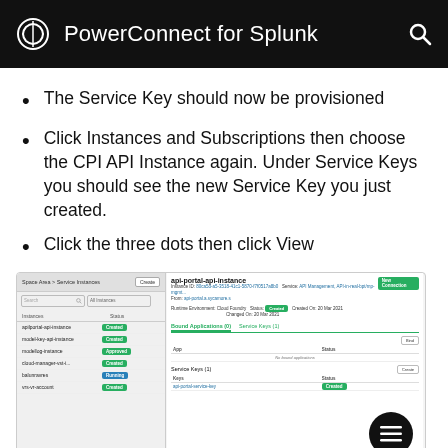PowerConnect for Splunk
The Service Key should now be provisioned
Click Instances and Subscriptions then choose the CPI API Instance again. Under Service Keys you should see the new Service Key you just created.
Click the three dots then click View
[Figure (screenshot): Screenshot of a web UI showing a service instances panel on the left with several instances listed (apilportal-api-instance, model-key-api-instance, modellog-instance, cloud-manager-vst-i, balunravres, vrs-vr-account) each with green Created/Approved/Running status badges. On the right, a detail panel shows 'api-portal-api-instance' with its instance ID, a New Connection button, bound applications tab, and a Service Keys (1) section listing 'api-portal-service-key' with a Created badge.]